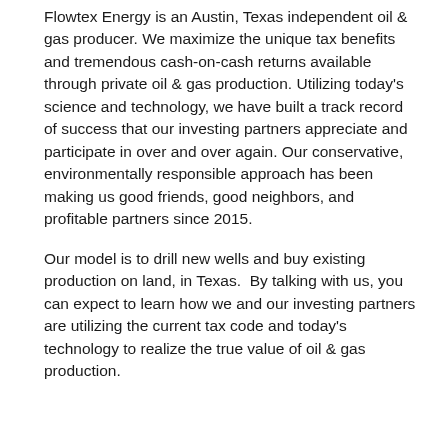Flowtex Energy is an Austin, Texas independent oil & gas producer. We maximize the unique tax benefits and tremendous cash-on-cash returns available through private oil & gas production. Utilizing today's science and technology, we have built a track record of success that our investing partners appreciate and participate in over and over again. Our conservative, environmentally responsible approach has been making us good friends, good neighbors, and profitable partners since 2015.
Our model is to drill new wells and buy existing production on land, in Texas.  By talking with us, you can expect to learn how we and our investing partners are utilizing the current tax code and today's technology to realize the true value of oil & gas production.